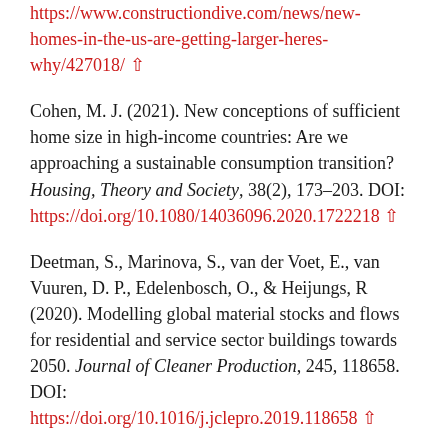https://www.constructiondive.com/news/new-homes-in-the-us-are-getting-larger-heres-why/427018/ ↑
Cohen, M. J. (2021). New conceptions of sufficient home size in high-income countries: Are we approaching a sustainable consumption transition? Housing, Theory and Society, 38(2), 173–203. DOI: https://doi.org/10.1080/14036096.2020.1722218 ↑
Deetman, S., Marinova, S., van der Voet, E., van Vuuren, D. P., Edelenbosch, O., & Heijungs, R (2020). Modelling global material stocks and flows for residential and service sector buildings towards 2050. Journal of Cleaner Production, 245, 118658. DOI: https://doi.org/10.1016/j.jclepro.2019.118658 ↑